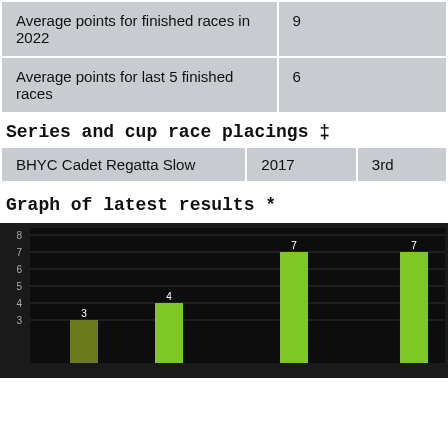|  |  |
| --- | --- |
| Average points for finished races in 2022 | 9 |
| Average points for last 5 finished races | 6 |
Series and cup race placings ‡
|  |  |  |
| --- | --- | --- |
| BHYC Cadet Regatta Slow | 2017 | 3rd |
Graph of latest results *
[Figure (bar-chart): Graph of latest results]